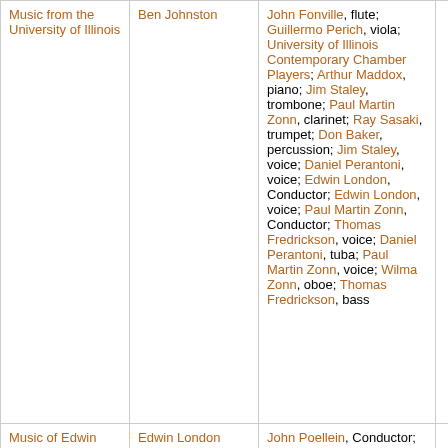| Album/Title | Composer/Artist | Performers | Play |
| --- | --- | --- | --- |
| Music from the University of Illinois | Ben Johnston | John Fonville, flute; Guillermo Perich, viola; University of Illinois Contemporary Chamber Players; Arthur Maddox, piano; Jim Staley, trombone; Paul Martin Zonn, clarinet; Ray Sasaki, trumpet; Don Baker, percussion; Jim Staley, voice; Daniel Perantoni, voice; Edwin London, Conductor; Edwin London, voice; Paul Martin Zonn, Conductor; Thomas Fredrickson, voice; Daniel Perantoni, tuba; Paul Martin Zonn, voice; Wilma Zonn, oboe; Thomas Fredrickson, bass | ▶ |
| Music of Edwin London | Edwin London | John Poellein, Conductor; | ▶ |